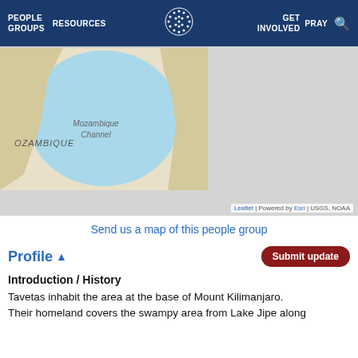PEOPLE GROUPS | RESOURCES | PRAY | GET INVOLVED
[Figure (map): Map showing Mozambique and the Mozambique Channel, with surrounding region. Leaflet | Powered by Esri | USGS, NOAA]
Send us a map of this people group
Profile ▲
Submit update
Introduction / History
Tavetas inhabit the area at the base of Mount Kilimanjaro. Their homeland covers the swampy area from Lake Jipe along